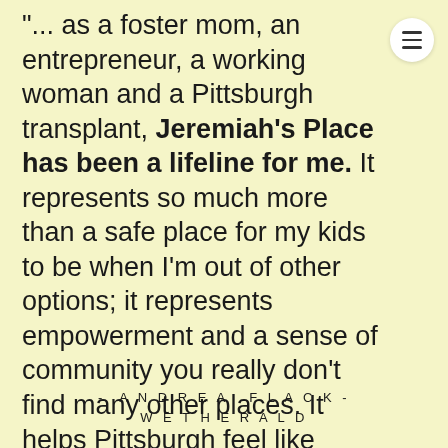"... as a foster mom, an entrepreneur, a working woman and a Pittsburgh transplant, Jeremiah's Place has been a lifeline for me. It represents so much more than a safe place for my kids to be when I'm out of other options; it represents empowerment and a sense of community you really don't find many other places. It helps Pittsburgh feel like home.
- ANDREA FLACK-WETHERALD